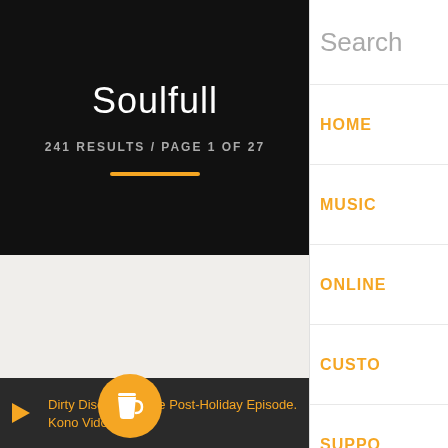Soulfull
241 RESULTS / PAGE 1 OF 27
Search
HOME
MUSIC
ONLINE
CUSTO
SUPPO
SUBSC
FREE M
Dirty Disco 468: The Post-Holiday Episode. Kono Vidovic